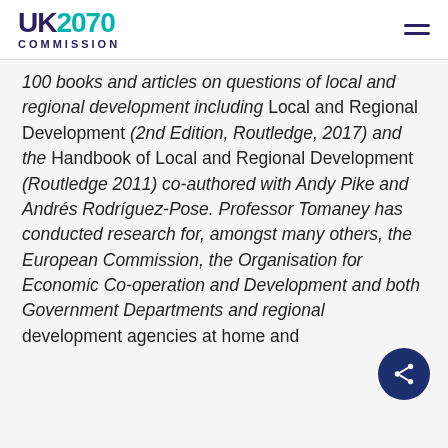UK2070 COMMISSION
100 books and articles on questions of local and regional development including Local and Regional Development (2nd Edition, Routledge, 2017) and the Handbook of Local and Regional Development (Routledge 2011) co-authored with Andy Pike and Andrés Rodríguez-Pose. Professor Tomaney has conducted research for, amongst many others, the European Commission, the Organisation for Economic Co-operation and Development and both Government Departments and regional development agencies at home and abroad. Professor Tomaney has been